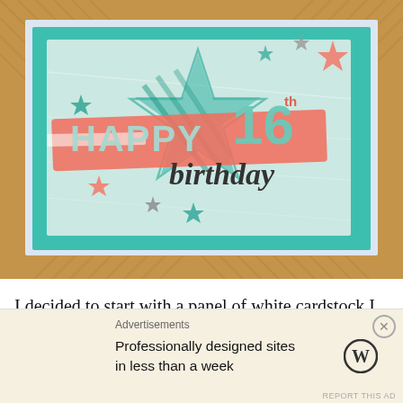[Figure (photo): A handmade 16th birthday card displayed on a wicker/rattan surface. The card features a teal/mint color scheme with embossed white cardstock, a large teal star, coral/salmon banner with 'HAPPY' in light mint letters, '16th' in teal numbers, and 'birthday' in dark script. Decorative stars in teal, coral, and grey are scattered around.]
I decided to start with a panel of white cardstock I had embossed with the Painted Texture folder. I added ink
Advertisements
Professionally designed sites in less than a week